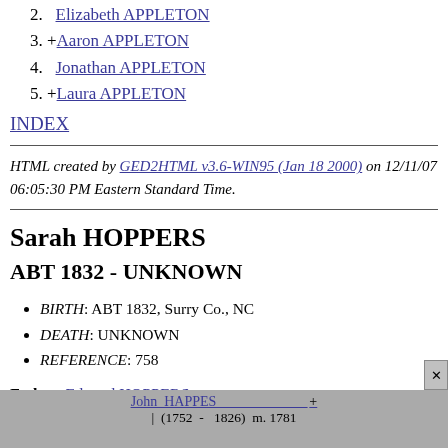2.   Elizabeth APPLETON
3. +Aaron APPLETON
4.   Jonathan APPLETON
5. +Laura APPLETON
INDEX
HTML created by GED2HTML v3.6-WIN95 (Jan 18 2000) on 12/11/07 06:05:30 PM Eastern Standard Time.
Sarah HOPPERS
ABT 1832 - UNKNOWN
BIRTH: ABT 1832, Surry Co., NC
DEATH: UNKNOWN
REFERENCE: 758
Father: Edward HOPPERS
Mother: Sally GIBBONS
[Figure (other): Family tree chart showing John HAPPES + (1752 - 1826) m. 1781]